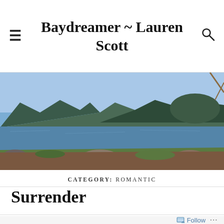Baydreamer ~ Lauren Scott
[Figure (photo): Panoramic landscape photo of a lake with rocky shoreline, green hills and mountains in the background, blue sky, taken at Big Bear Lake or similar mountain lake setting.]
CATEGORY: ROMANTIC
Surrender